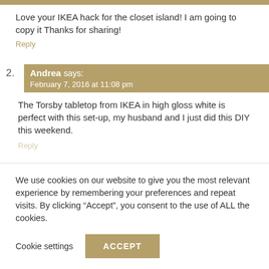Love your IKEA hack for the closet island! I am going to copy it Thanks for sharing!
Reply
2. Andrea says: February 7, 2016 at 11:08 pm
The Torsby tabletop from IKEA in high gloss white is perfect with this set-up, my husband and I just did this DIY this weekend.
Reply
We use cookies on our website to give you the most relevant experience by remembering your preferences and repeat visits. By clicking “Accept”, you consent to the use of ALL the cookies.
Cookie settings   ACCEPT